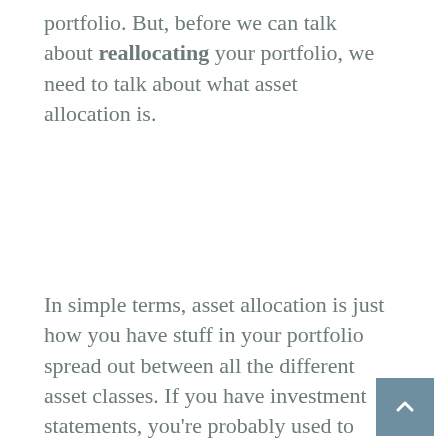portfolio. But, before we can talk about reallocating your portfolio, we need to talk about what asset allocation is.
In simple terms, asset allocation is just how you have stuff in your portfolio spread out between all the different asset classes. If you have investment statements, you're probably used to seeing the pie chart full of colors that represents where all of your investments are. For simplicity's sake, today we're just going to assume there is 25% in each piece to represent just a